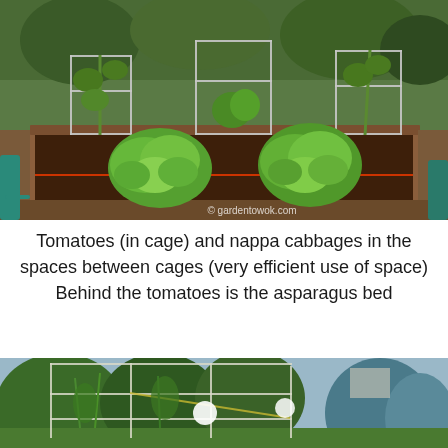[Figure (photo): Raised garden bed with tomatoes in wire cages and large nappa cabbages growing in spaces between cages. Dark soil visible, wooden frame border. Watermark reads gardentowok.com.]
Tomatoes (in cage) and nappa cabbages in the spaces between cages (very efficient use of space) Behind the tomatoes is the asparagus bed
[Figure (photo): Outdoor garden with tall wire cages/trellises against a backdrop of green trees and a blue spruce. White circular objects visible on the cages.]